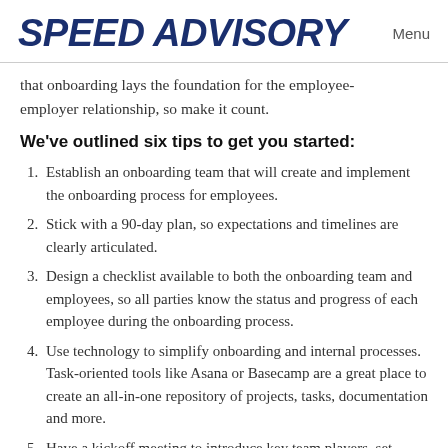SPEED ADVISORY  Menu
that onboarding lays the foundation for the employee-employer relationship, so make it count.
We've outlined six tips to get you started:
Establish an onboarding team that will create and implement the onboarding process for employees.
Stick with a 90-day plan, so expectations and timelines are clearly articulated.
Design a checklist available to both the onboarding team and employees, so all parties know the status and progress of each employee during the onboarding process.
Use technology to simplify onboarding and internal processes. Task-oriented tools like Asana or Basecamp are a great place to create an all-in-one repository of projects, tasks, documentation and more.
Have a kickoff meeting to introduce key team players, set